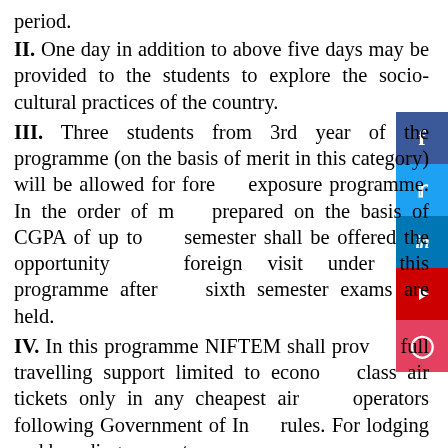period.
II. One day in addition to above five days may be provided to the students to explore the socio-cultural practices of the country.
III. Three students from 3rd year of the programme (on the basis of merit in this category) will be allowed for foreign exposure programme. In the order of merit prepared on the basis of CGPA of up to 5th semester shall be offered the opportunity for foreign visit under this programme after the sixth semester exams are held.
IV. In this programme NIFTEM shall provide full travelling support limited to economy class air tickets only in any cheapest air operators following Government of India rules. For lodging and boarding support